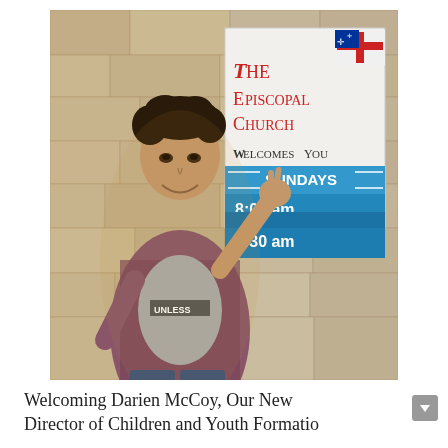[Figure (photo): A young man standing in front of an Episcopal Church sign, making a peace sign gesture with his hand. He is wearing a plaid shirt over a gray t-shirt. The church sign reads 'The Episcopal Church Welcomes You' with service times listed: Sundays 8:00 am, 9:30 am, 10:30 am. A red cross Episcopal flag is visible on the sign.]
Welcoming Darien McCoy, Our New Director of Children and Youth Formation